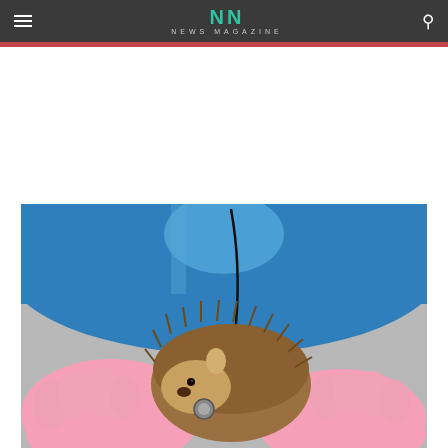NN NEWS MAGAZINE
[Figure (photo): A veterinarian or vet technician wearing blue scrubs and pink latex gloves holds a small hedgehog, examining it with a stethoscope.]